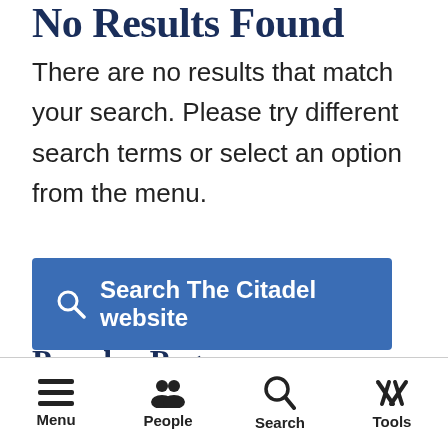No Results Found
There are no results that match your search. Please try different search terms or select an option from the menu.
[Figure (screenshot): Blue button labeled 'Search The Citadel website' with a magnifying glass icon]
Popular Pages
Menu  People  Search  Tools